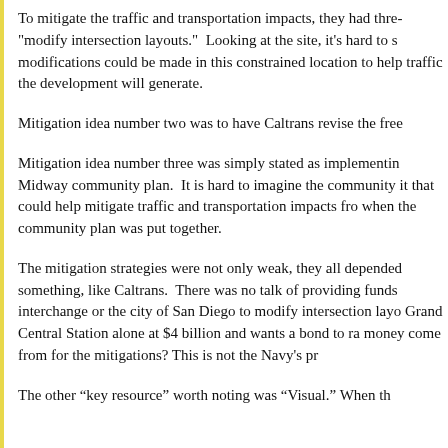To mitigate the traffic and transportation impacts, they had three "modify intersection layouts." Looking at the site, it's hard to s modifications could be made in this constrained location to help traffic the development will generate.
Mitigation idea number two was to have Caltrans revise the free
Mitigation idea number three was simply stated as implementin Midway community plan. It is hard to imagine the community it that could help mitigate traffic and transportation impacts from when the community plan was put together.
The mitigation strategies were not only weak, they all depended something, like Caltrans. There was no talk of providing funds interchange or the city of San Diego to modify intersection layo Grand Central Station alone at $4 billion and wants a bond to ra money come from for the mitigations? This is not the Navy's pr
The other “key resource” worth noting was “Visual.” When th